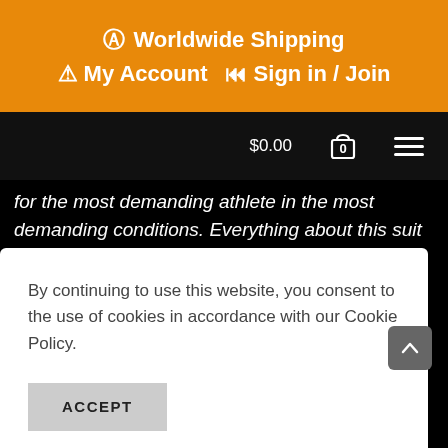Worldwide Shipping | My Account | Sign in / Join
$0.00 0 (cart/hamburger menu)
for the most demanding athlete in the most demanding conditions. Everything about this suit has been tweaked and redone due to the new 2-in-1 construction. All the things you like about a 1 piece without any of the drawbacks.
GoFierce Pro Edition Short Sleeve 1 piece is our brand new 2- ... llows us to ... g a ... ! Longer ... longer ... and a wider ... age. The 2- ... – allowing ... zips in the
By continuing to use this website, you consent to the use of cookies in accordance with our Cookie Policy.
ACCEPT